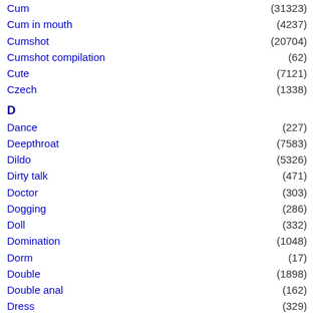Cum (31323)
Cum in mouth (4237)
Cumshot (20704)
Cumshot compilation (62)
Cute (7121)
Czech (1338)
D
Dance (227)
Deepthroat (7583)
Dildo (5326)
Dirty talk (471)
Doctor (303)
Dogging (286)
Doll (332)
Domination (1048)
Dorm (17)
Double (1898)
Double anal (162)
Dress (329)
Drunk (6)
Dutch (305)
E